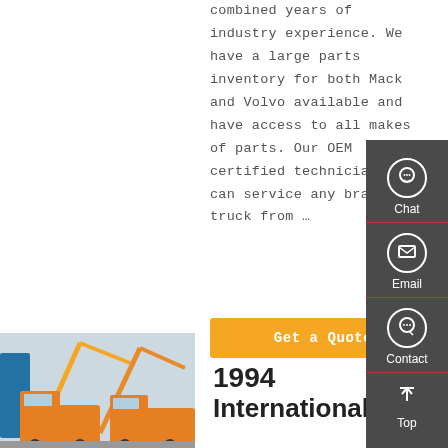combined years of industry experience. We have a large parts inventory for both Mack and Volvo available and have access to all makes of parts. Our OEM certified technicians can service any brand of truck from …
Get a Quote
[Figure (infographic): Sidebar navigation panel with dark gray background containing four items: Chat (headset icon), Email (envelope icon), Contact (speech bubble icon), Top (upward arrow icon), separated by red lines]
[Figure (photo): Photo of orange semi-trucks with crane equipment against a light sky background]
1994 International